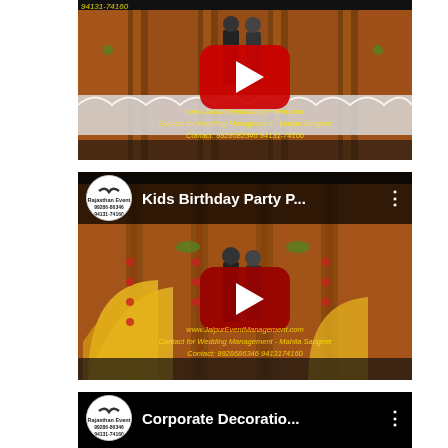[Figure (screenshot): YouTube video thumbnail for a wedding/event management video showing a decorated stage with orange curtains, a play button, and overlay text with website and contact info: www.JaipurEventManagement.com, Contact for Wedding Management - Mahila Sangeet, Contact: 9928682346, 94131-74160]
[Figure (screenshot): YouTube video thumbnail titled 'Kids Birthday Party P...' by Rajasthan Event (99286-86346, 94131-74160) showing a decorated stage with orange/yellow fan decorations and two people, with overlay text: www.JaipurEventManagement.com, Contact for Wedding Management - Mahila Sangeet, Contact: 9928686346, 9413174160]
[Figure (screenshot): YouTube video thumbnail titled 'Corporate Decoratio...' by Rajasthan Event (99286-86346, 94131-74160) showing the beginning of a video with orange curtain background]